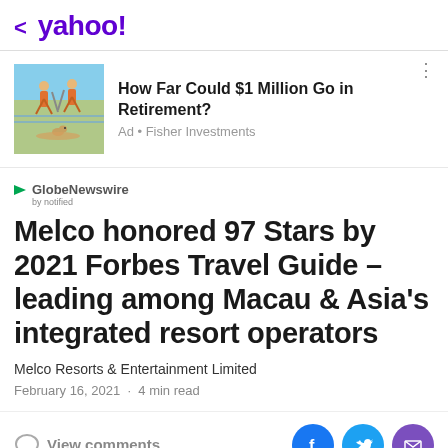< yahoo!
[Figure (advertisement): Ad banner showing two people paddleboarding with a dog. Text: How Far Could $1 Million Go in Retirement? Ad • Fisher Investments]
[Figure (logo): GlobeNewswire by notified logo]
Melco honored 97 Stars by 2021 Forbes Travel Guide – leading among Macau & Asia's integrated resort operators
Melco Resorts & Entertainment Limited
February 16, 2021  ·  4 min read
View comments